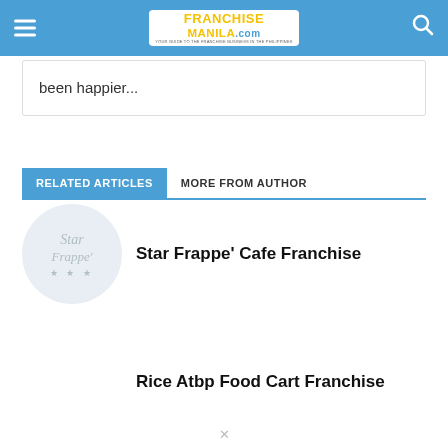FranchiseManila.com
been happier...
RELATED ARTICLES	MORE FROM AUTHOR
[Figure (logo): Star Frappe circular logo — light grey circle with 'Star Frappe'' text and stars]
Star Frappe' Cafe Franchise
Rice Atbp Food Cart Franchise